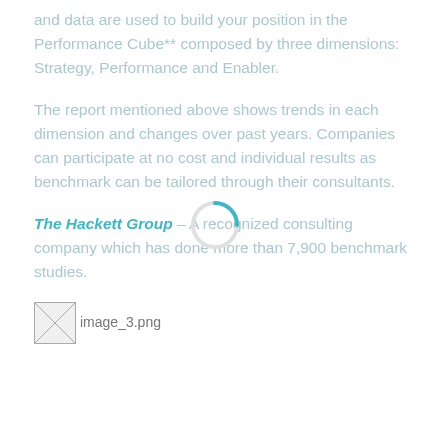and data are used to build your position in the Performance Cube** composed by three dimensions: Strategy, Performance and Enabler.
The report mentioned above shows trends in each dimension and changes over past years. Companies can participate at no cost and individual results as benchmark can be tailored through their consultants.
The Hackett Group – A recognized consulting company which has done more than 7,900 benchmark studies.
[Figure (other): image_3.png placeholder image]